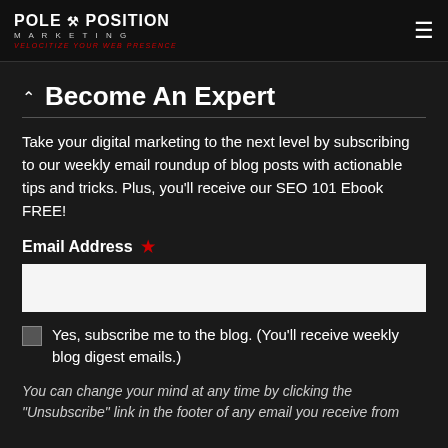Pole Position Marketing — Velocitize Your Web Presence
Become An Expert
Take your digital marketing to the next level by subscribing to our weekly email roundup of blog posts with actionable tips and tricks. Plus, you'll receive our SEO 101 Ebook FREE!
Email Address *
Yes, subscribe me to the blog. (You'll receive weekly blog digest emails.)
You can change your mind at any time by clicking the "Unsubscribe" link in the footer of any email you receive from